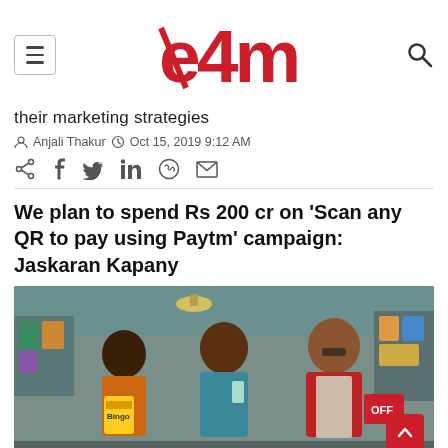e4m — hamburger menu, logo, search icon
their marketing strategies
Anjali Thakur  Oct 15, 2019 9:12 AM
Social share icons: share, facebook, twitter, linkedin, whatsapp, email
We plan to spend Rs 200 cr on ‘Scan any QR to pay using Paytm’ campaign: Jaskaran Kapany
[Figure (photo): Three young men in a shop/store setting. One in an orange outfit holding snacks (Bingo brand), one in teal polo shirt, one in red jacket. Appears to be a Paytm advertisement scene.]